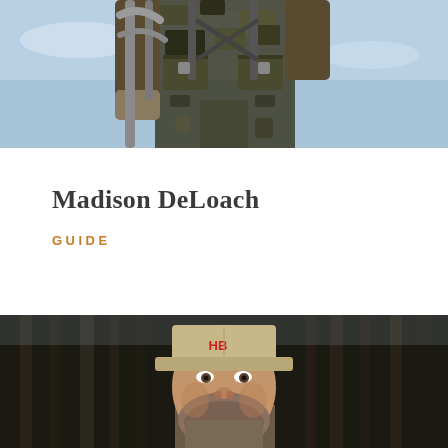[Figure (photo): Person in camouflage hunting vest and gear, holding equipment with a blue sky background. Upper body and hands visible.]
Madison DeLoach
GUIDE
[Figure (photo): Bearded man with a tan baseball cap with 'HB' logo, standing in a wooded forest area with bare trees in the background.]